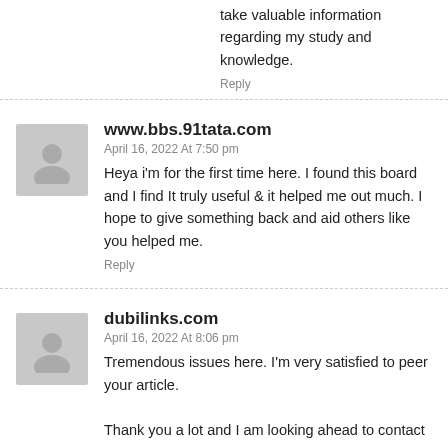take valuable information regarding my study and knowledge.
Reply
www.bbs.91tata.com
April 16, 2022 At 7:50 pm
Heya i'm for the first time here. I found this board and I find It truly useful & it helped me out much. I hope to give something back and aid others like you helped me.
Reply
dubilinks.com
April 16, 2022 At 8:06 pm
Tremendous issues here. I'm very satisfied to peer your article. Thank you a lot and I am looking ahead to contact